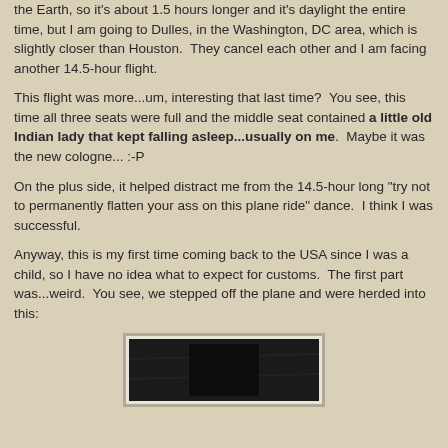the Earth, so it's about 1.5 hours longer and it's daylight the entire time, but I am going to Dulles, in the Washington, DC area, which is slightly closer than Houston.  They cancel each other and I am facing another 14.5-hour flight.
This flight was more...um, interesting that last time?  You see, this time all three seats were full and the middle seat contained a little old Indian lady that kept falling asleep...usually on me.  Maybe it was the new cologne... :-P
On the plus side, it helped distract me from the 14.5-hour long "try not to permanently flatten your ass on this plane ride" dance.  I think I was successful.
Anyway, this is my first time coming back to the USA since I was a child, so I have no idea what to expect for customs.  The first part was...weird.  You see, we stepped off the plane and were herded into this:
[Figure (photo): A dark/nearly black photograph, partially visible at the bottom of the page, appearing to show a dimly lit interior space.]